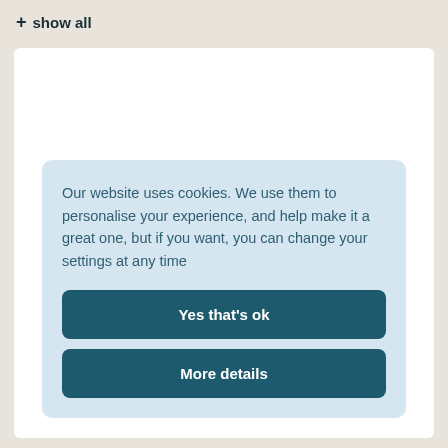+ show all
Our website uses cookies. We use them to personalise your experience, and help make it a great one, but if you want, you can change your settings at any time
Yes that's ok
More details